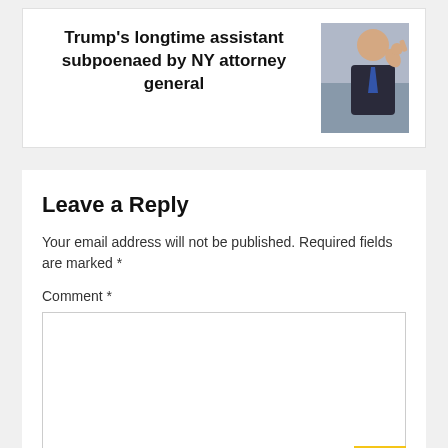Trump's longtime assistant subpoenaed by NY attorney general
[Figure (photo): Photo of Donald Trump pointing with finger raised, wearing suit and tie, American flag in background]
Leave a Reply
Your email address will not be published. Required fields are marked *
Comment *